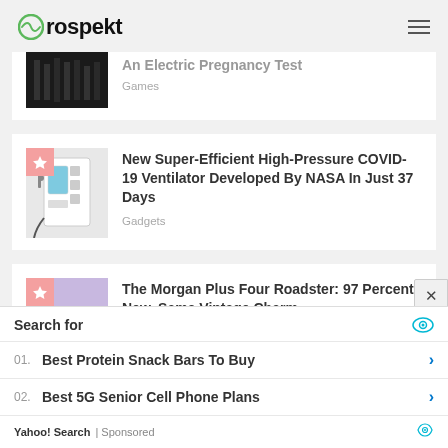Prospekt
An Electric Pregnancy Test
Games
New Super-Efficient High-Pressure COVID-19 Ventilator Developed By NASA In Just 37 Days
Gadgets
The Morgan Plus Four Roadster: 97 Percent New, Same Vintage Charm
Search for
01. Best Protein Snack Bars To Buy
02. Best 5G Senior Cell Phone Plans
Yahoo! Search | Sponsored